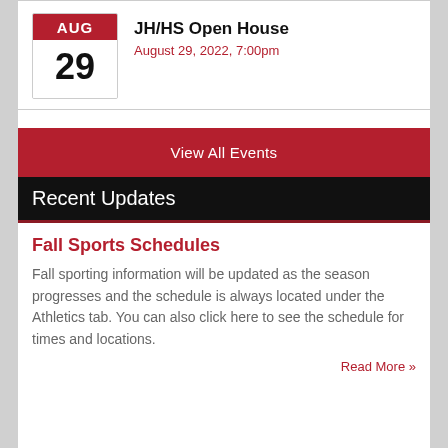[Figure (other): Calendar icon showing AUG in red header and 29 in white body]
JH/HS Open House
August 29, 2022, 7:00pm
View All Events
Recent Updates
Fall Sports Schedules
Fall sporting information will be updated as the season progresses and the schedule is always located under the Athletics tab. You can also click here to see the schedule for times and locations.
Read More »